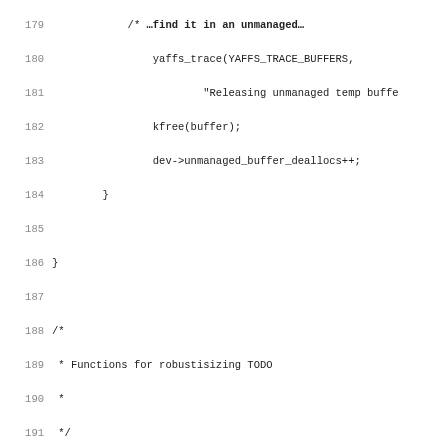Source code listing lines 179-211, C source file with yaffs filesystem functions